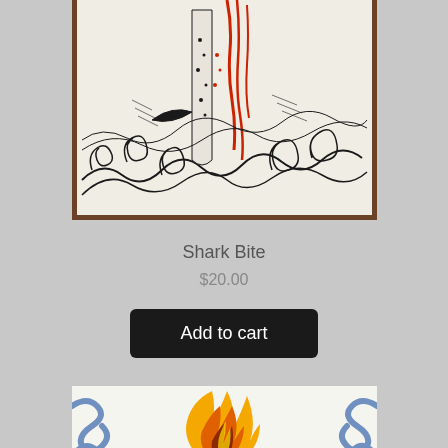[Figure (illustration): Black and white ink drawing of a shark bite scene with swirling waves and a figure, with red accents. Drawing is on white paper placed on a wooden surface. Partial view showing the lower portion of the artwork.]
Shark Bite
$20.00
Add to cart
[Figure (illustration): Partial view of a colorful illustration featuring a yellow and orange flame design with blue decorative scroll/swirl patterns on a white background.]